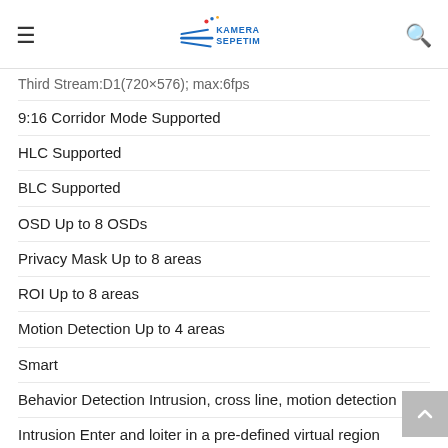Kamera Sepetim — navigation header
Third Stream:D1(720×576); max: 6fps
9:16 Corridor Mode Supported
HLC Supported
BLC Supported
OSD Up to 8 OSDs
Privacy Mask Up to 8 areas
ROI Up to 8 areas
Motion Detection Up to 4 areas
Smart
Behavior Detection Intrusion, cross line, motion detection
Intrusion Enter and loiter in a pre-defined virtual region
cross line Cross a pre-defined virtual line
motion detection Moving within a pre-defined virtual region